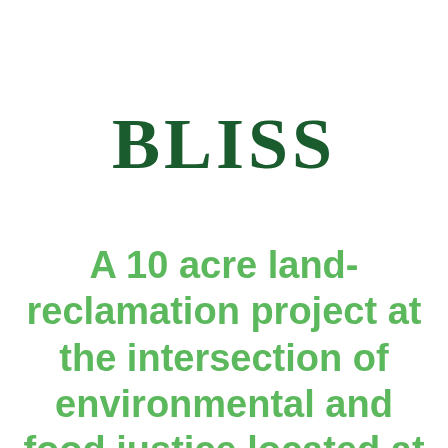BLISS
A 10 acre land-reclamation project at the intersection of environmental and food justice located at 5105 Plainfield Ave